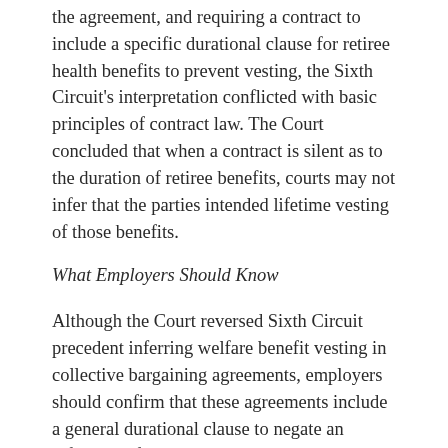the agreement, and requiring a contract to include a specific durational clause for retiree health benefits to prevent vesting, the Sixth Circuit's interpretation conflicted with basic principles of contract law. The Court concluded that when a contract is silent as to the duration of retiree benefits, courts may not infer that the parties intended lifetime vesting of those benefits.
What Employers Should Know
Although the Court reversed Sixth Circuit precedent inferring welfare benefit vesting in collective bargaining agreements, employers should confirm that these agreements include a general durational clause to negate an inference of vesting. The Court made clear that durational clauses specific to each type of benefit are not